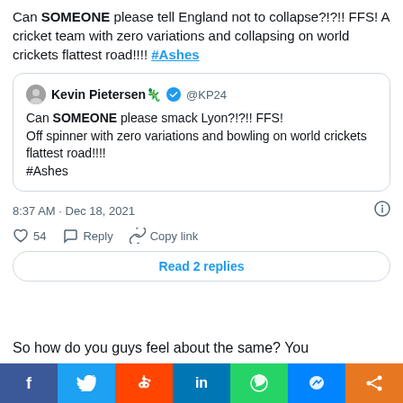Can SOMEONE please tell England not to collapse?!?!! FFS! A cricket team with zero variations and collapsing on world crickets flattest road!!!! #Ashes
[Figure (screenshot): Quoted tweet from Kevin Pietersen @KP24 with verified badge: 'Can SOMEONE please smack Lyon?!?!! FFS! Off spinner with zero variations and bowling on world crickets flattest road!!!! #Ashes']
8:37 AM · Dec 18, 2021
54  Reply  Copy link
Read 2 replies
So how do you guys feel about the same? You
[Figure (infographic): Social share bar at bottom with Facebook, Twitter, Reddit, LinkedIn, WhatsApp, Messenger, and Share buttons]